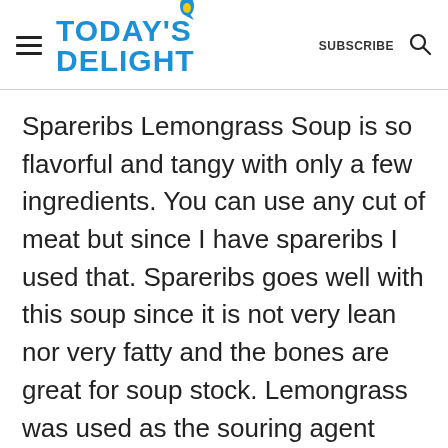TODAY'S DELIGHT  SUBSCRIBE
Spareribs Lemongrass Soup is so flavorful and tangy with only a few ingredients. You can use any cut of meat but since I have spareribs I used that. Spareribs goes well with this soup since it is not very lean nor very fatty and the bones are great for soup stock. Lemongrass was used as the souring agent which gives the soup a distinct, light and citrusy flavor that